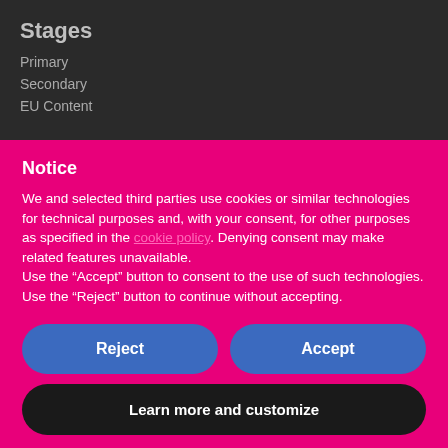Stages
Primary
Secondary
EU Content
Notice
We and selected third parties use cookies or similar technologies for technical purposes and, with your consent, for other purposes as specified in the cookie policy. Denying consent may make related features unavailable.
Use the “Accept” button to consent to the use of such technologies. Use the “Reject” button to continue without accepting.
Reject
Accept
Learn more and customize